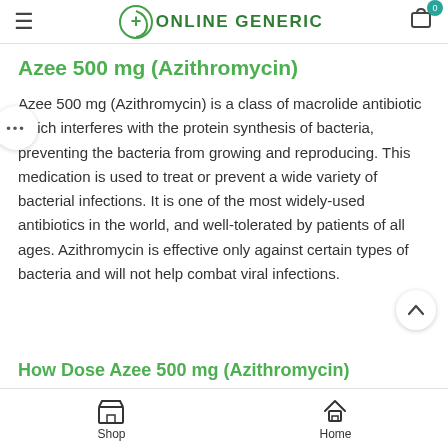Online Generic — navigation bar with hamburger menu and cart
Azee 500 mg (Azithromycin)
Azee 500 mg (Azithromycin) is a class of macrolide antibiotic which interferes with the protein synthesis of bacteria, preventing the bacteria from growing and reproducing. This medication is used to treat or prevent a wide variety of bacterial infections. It is one of the most widely-used antibiotics in the world, and well-tolerated by patients of all ages. Azithromycin is effective only against certain types of bacteria and will not help combat viral infections.
How Dose Azee 500 mg (Azithromycin)
Shop   Home